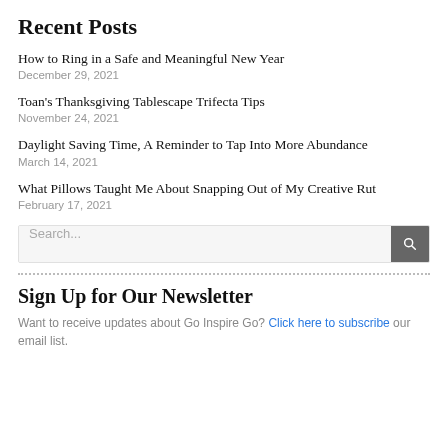Recent Posts
How to Ring in a Safe and Meaningful New Year
December 29, 2021
Toan's Thanksgiving Tablescape Trifecta Tips
November 24, 2021
Daylight Saving Time, A Reminder to Tap Into More Abundance
March 14, 2021
What Pillows Taught Me About Snapping Out of My Creative Rut
February 17, 2021
Search...
Sign Up for Our Newsletter
Want to receive updates about Go Inspire Go? Click here to subscribe our email list.